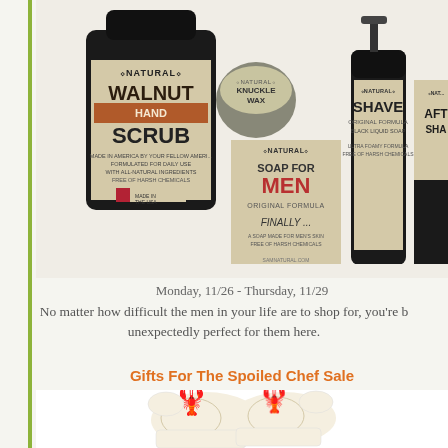[Figure (photo): Natural grooming products for men including Walnut Hand Scrub bottle, Knuckle Wax tin, Soap for Men bar, Shave liquid soap bottle, and After Shave bottle arranged together on white background.]
Monday, 11/26 - Thursday, 11/29
No matter how difficult the men in your life are to shop for, you're b... unexpectedly perfect for them here.
Gifts For The Spoiled Chef Sale
[Figure (photo): Orange lobster-printed oven mitts on white background.]